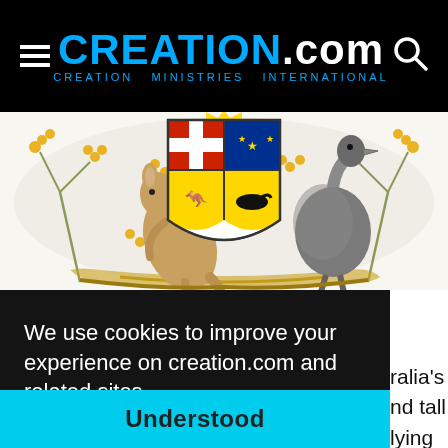CREATION.com — CREATION MINISTRIES INTERNATIONAL
[Figure (illustration): Australian Coat of Arms showing kangaroo on left, emu on right, central shield with state emblems, wattle branches with golden flowers]
We use cookies to improve your experience on creation.com and related sites.
Privacy Policy
ralia's
nd tall
lying
Understood